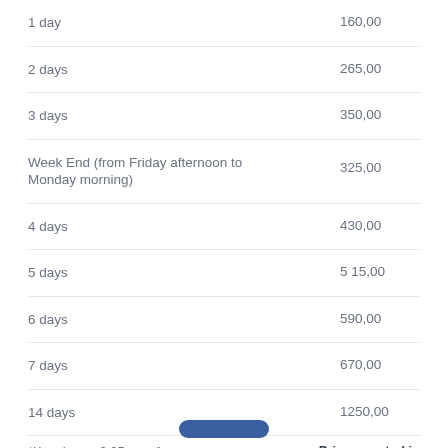| Duration | Price |
| --- | --- |
| 1 day | 160,00 |
| 2 days | 265,00 |
| 3 days | 350,00 |
| Week End (from Friday afternoon to Monday morning) | 325,00 |
| 4 days | 430,00 |
| 5 days | 515,00 |
| 6 days | 590,00 |
| 7 days | 670,00 |
| 14 days | 1250,00 |
*Km charge 0,25 euro/km
Three BMW cases included
Prices quoted in EURO